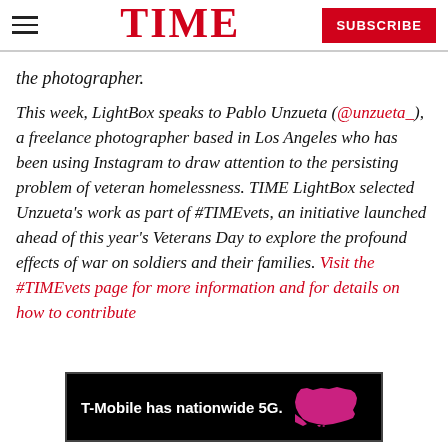TIME — SUBSCRIBE
the photographer.
This week, LightBox speaks to Pablo Unzueta (@unzueta_), a freelance photographer based in Los Angeles who has been using Instagram to draw attention to the persisting problem of veteran homelessness. TIME LightBox selected Unzueta's work as part of #TIMEvets, an initiative launched ahead of this year's Veterans Day to explore the profound effects of war on soldiers and their families. Visit the #TIMEvets page for more information and for details on how to contribute
[Figure (screenshot): T-Mobile advertisement banner: black background with 'T-Mobile has nationwide 5G.' text in white and a pink/magenta map of the United States.]